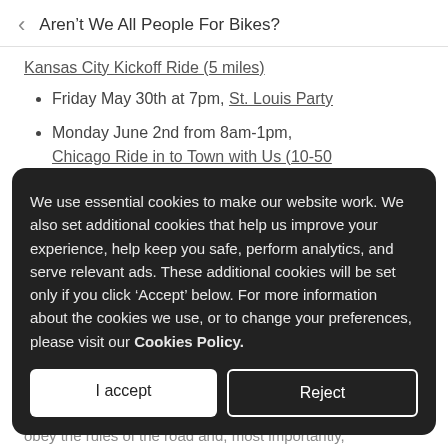Aren't We All People For Bikes?
Kansas City Kickoff Ride (5 miles)
Friday May 30th at 7pm, St. Louis Party
Monday June 2nd from 8am-1pm, Chicago Ride in to Town with Us (10-50
We use essential cookies to make our website work. We also set additional cookies that help us improve your experience, help keep you safe, perform analytics, and serve relevant ads. These additional cookies will be set only if you click 'Accept' below. For more information about the cookies we use, or to change your preferences, please visit our Cookies Policy.
I accept
Reject
obey the rules of the road and, most importantly,